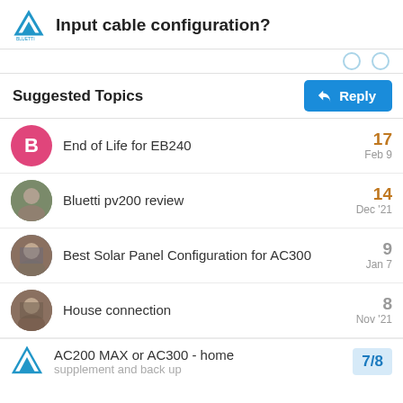Input cable configuration?
Suggested Topics
End of Life for EB240 — 17 — Feb 9
Bluetti pv200 review — 14 — Dec '21
Best Solar Panel Configuration for AC300 — 9 — Jan 7
House connection — 8 — Nov '21
AC200 MAX or AC300 - home supplement and back up — 7/8